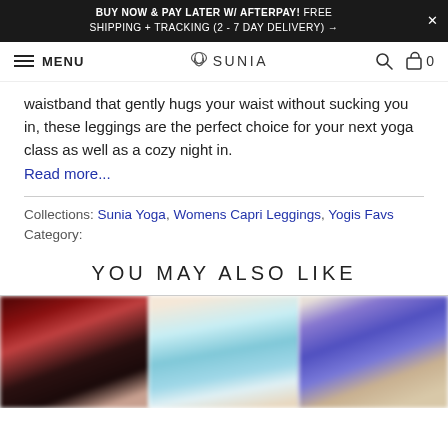BUY NOW & PAY LATER W/ AFTERPAY! FREE SHIPPING + TRACKING (2 - 7 DAY DELIVERY) →
MENU | SUNIA YOGA | 🔍 | 🛍 0
waistband that gently hugs your waist without sucking you in, these leggings are the perfect choice for your next yoga class as well as a cozy night in.
Read more...
Collections: Sunia Yoga, Womens Capri Leggings, Yogis Favs
Category:
YOU MAY ALSO LIKE
[Figure (photo): Three product thumbnail photos of yoga apparel: left shows dark red/black leggings, center shows light blue/teal capri leggings, right shows a woman in purple top.]